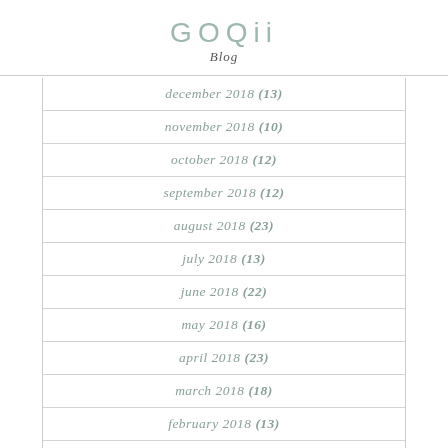GOQii Blog
december 2018 (13)
november 2018 (10)
october 2018 (12)
september 2018 (12)
august 2018 (23)
july 2018 (13)
june 2018 (22)
may 2018 (16)
april 2018 (23)
march 2018 (18)
february 2018 (13)
january 2018 (20)